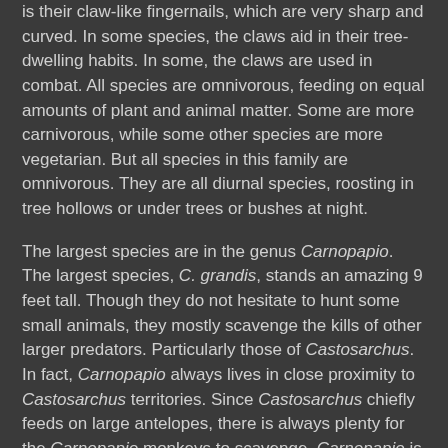is their claw-like fingernails, which are very sharp and curved. In some species, the claws aid in their tree-dwelling habits. In some, the claws are used in combat. All species are omnivorous, feeding on equal amounts of plant and animal matter. Some are more carnivorous, while some other species are more vegetarian. But all species in this family are omnivorous. They are all diurnal species, roosting in tree hollows or under trees or bushes at night.
The largest species are in the genus Carnopapio. The largest species, C. grandis, stands an amazing 9 feet tall. Though they do not hesitate to hunt some small animals, they mostly scavenge the kills of other larger predators. Particularly those of Castosarchus. In fact, Carnopapio always lives in close proximity to Castosarchus territories. Since Castosarchus chiefly feeds on large antelopes, there is always plenty for the Carnopapio monkeys to scavenge. Carnopapio is also bipedal, and walk around in very bird-like fashion. This gives them an advantage over most other scavengers, since they are better able to see over the tall grass of their habitat. Carnopapio lives in large groups, usually 10-15 strong.